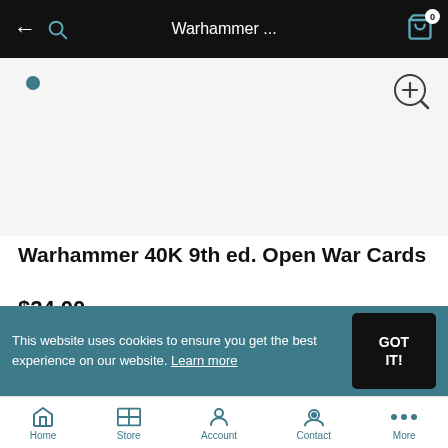Warhammer ...
[Figure (screenshot): Product image area with blue dot indicator and zoom icon]
Warhammer 40K 9th ed. Open War Cards
$24.00
Quantity: 1
BUY NOW
This website uses cookies to ensure you get the best experience on our website. Learn more
Home  Store  Account  Contact  More